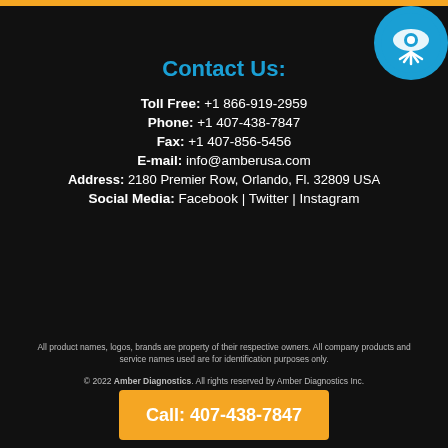Contact Us:
Toll Free: +1 866-919-2959
Phone: +1 407-438-7847
Fax: +1 407-856-5456
E-mail: info@amberusa.com
Address: 2180 Premier Row, Orlando, Fl. 32809 USA
Social Media: Facebook | Twitter | Instagram
All product names, logos, brands are property of their respective owners. All company products and service names used are for identification purposes only.
© 2022 Amber Diagnostics. All rights reserved by Amber Diagnostics Inc.
Call: 407-438-7847
[Figure (logo): Amber Diagnostics circular blue logo with eye/hand graphic]